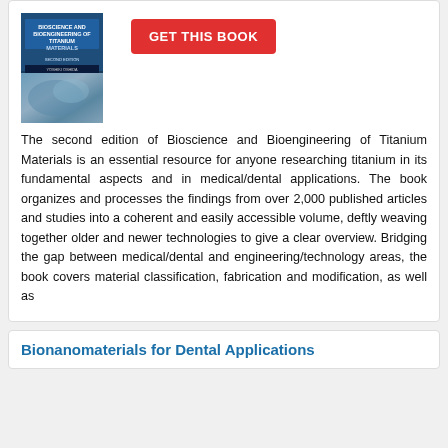[Figure (photo): Book cover for Bioscience and Bioengineering of Titanium Materials, Second Edition]
GET THIS BOOK
The second edition of Bioscience and Bioengineering of Titanium Materials is an essential resource for anyone researching titanium in its fundamental aspects and in medical/dental applications. The book organizes and processes the findings from over 2,000 published articles and studies into a coherent and easily accessible volume, deftly weaving together older and newer technologies to give a clear overview. Bridging the gap between medical/dental and engineering/technology areas, the book covers material classification, fabrication and modification, as well as
Bionanomaterials for Dental Applications